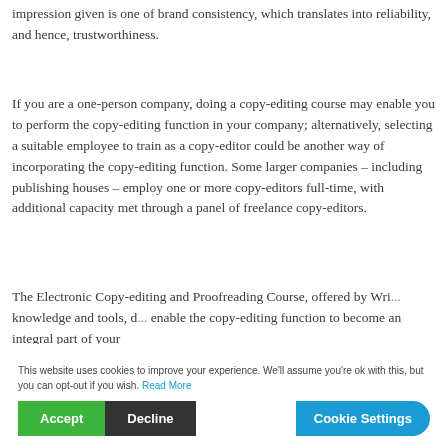impression given is one of brand consistency, which translates into reliability, and hence, trustworthiness.
If you are a one-person company, doing a copy-editing course may enable you to perform the copy-editing function in your company; alternatively, selecting a suitable employee to train as a copy-editor could be another way of incorporating the copy-editing function. Some larger companies – including publishing houses – employ one or more copy-editors full-time, with additional capacity met through a panel of freelance copy-editors.
The Electronic Copy-editing and Proofreading Course, offered by Wri... knowledge and tools, d... enable the copy-editing function to become an integral part of your
This website uses cookies to improve your experience. We'll assume you're ok with this, but you can opt-out if you wish. Read More